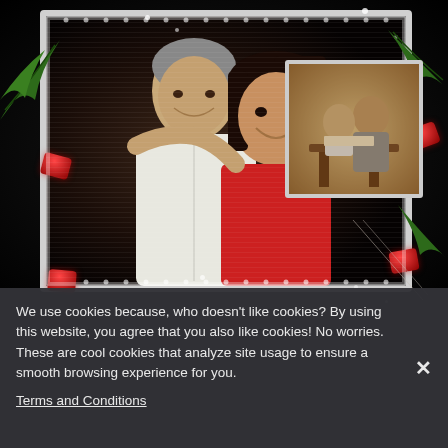[Figure (photo): A decorative collage with a black background featuring red gem decorations, white sparkle dots, green leaf elements, and two photos: a main larger photo showing an older man and a younger woman hugging and smiling, both in a dark setting, framed with a white lace-style border; and a smaller vintage sepia-toned photo in the upper right showing two children at a desk.]
We use cookies because, who doesn't like cookies? By using this website, you agree that you also like cookies! No worries. These are cool cookies that analyze site usage to ensure a smooth browsing experience for you.
Terms and Conditions